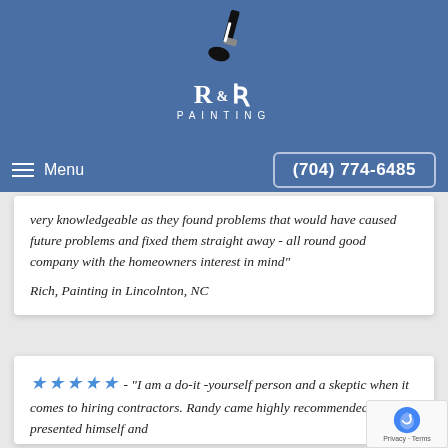[Figure (logo): R&R Painting logo with paint brush icon above stylized R&R text and PAINTING subtitle on blue background]
Menu
(704) 774-6485
very knowledgeable as they found problems that would have caused future problems and fixed them straight away - all round good company with the homeowners interest in mind"
Rich, Painting in Lincolnton, NC
★★★★★ - "I am a do-it -yourself person and a skeptic when it comes to hiring contractors. Randy came highly recommended and presented himself and